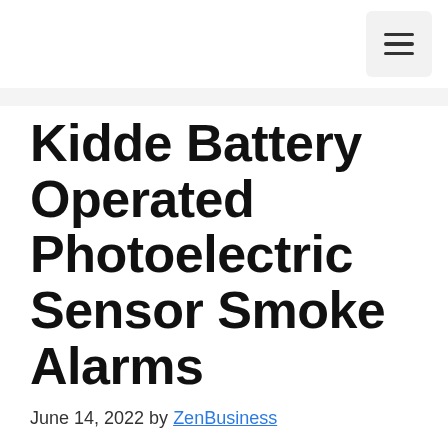≡
Kidde Battery Operated Photoelectric Sensor Smoke Alarms
June 14, 2022 by ZenBusiness